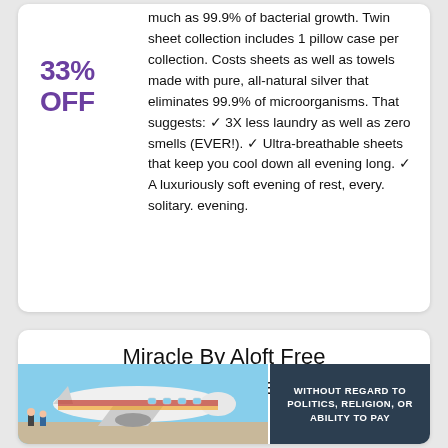much as 99.9% of bacterial growth. Twin sheet collection includes 1 pillow case per collection. Costs sheets as well as towels made with pure, all-natural silver that eliminates 99.9% of microorganisms. That suggests: ✓ 3X less laundry as well as zero smells (EVER!). ✓ Ultra-breathable sheets that keep you cool down all evening long. ✓ A luxuriously soft evening of rest, every. solitary. evening.
33% OFF
Miracle By Aloft Free Shipping on Premium
[Figure (photo): Cargo airplane on tarmac with crew loading freight, advertisement banner overlay reading WITHOUT REGARD TO POLITICS, RELIGION, OR ABILITY TO PAY]